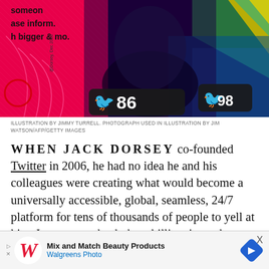[Figure (illustration): Colorful illustration of Jack Dorsey with Twitter bird icons showing numbers 98 and 86, pink and purple abstract background with geometric shapes. Text fragments: 'someone', 'ase inform.', 'h bigger & mo.' Illustration by Jimmy Turrell. Photograph used in illustration by Jim Watson/AFP/Getty Images.]
ILLUSTRATION BY JIMMY TURRELL. PHOTOGRAPH USED IN ILLUSTRATION BY JIM WATSON/AFP/GETTY IMAGES
WHEN JACK DORSEY co-founded Twitter in 2006, he had no idea he and his colleagues were creating what would become a universally accessible, global, seamless, 24/7 platform for tens of thousands of people to yell at him. In any case, back then, billionaire tech execs were still — at least in some circles — figures of
[Figure (infographic): Walgreens Photo advertisement banner: Mix and Match Beauty Products, Walgreens Photo. Blue diamond arrow icon on right. X close button top right.]